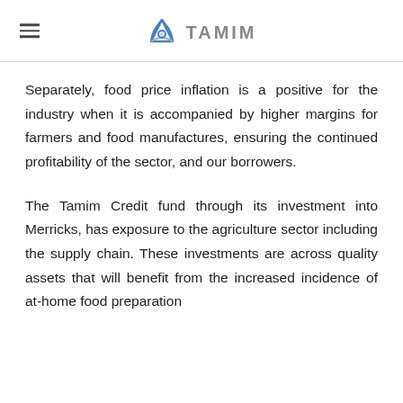TAMIM
Separately, food price inflation is a positive for the industry when it is accompanied by higher margins for farmers and food manufactures, ensuring the continued profitability of the sector, and our borrowers.
The Tamim Credit fund through its investment into Merricks, has exposure to the agriculture sector including the supply chain. These investments are across quality assets that will benefit from the increased incidence of at-home food preparation